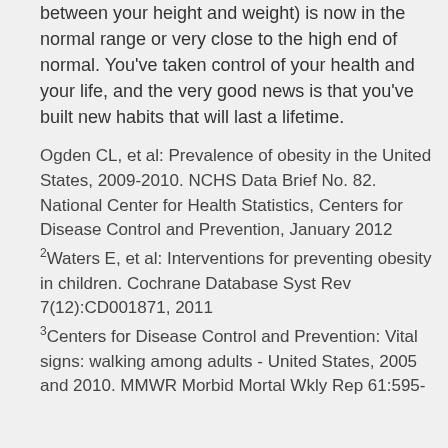between your height and weight) is now in the normal range or very close to the high end of normal. You've taken control of your health and your life, and the very good news is that you've built new habits that will last a lifetime.
Ogden CL, et al: Prevalence of obesity in the United States, 2009-2010. NCHS Data Brief No. 82. National Center for Health Statistics, Centers for Disease Control and Prevention, January 2012
2Waters E, et al: Interventions for preventing obesity in children. Cochrane Database Syst Rev 7(12):CD001871, 2011
3Centers for Disease Control and Prevention: Vital signs: walking among adults - United States, 2005 and 2010. MMWR Morbid Mortal Wkly Rep 61:595-